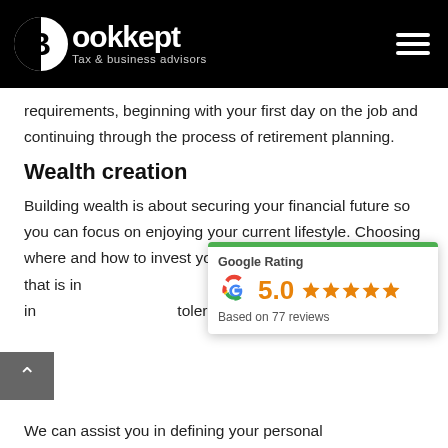Bookkept — Tax & business advisors
requirements, beginning with your first day on the job and continuing through the process of retirement planning.
Wealth creation
Building wealth is about securing your financial future so you can focus on enjoying your current lifestyle. Choosing where and how to invest your money is a tough decision that is influenced by many factors, including your overall in… tolerance, and time fra…
[Figure (infographic): Google Rating widget showing 5.0 stars based on 77 reviews, with a green bar at top and Google 'G' logo]
We can assist you in defining your personal